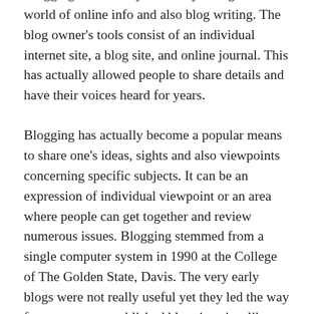Blogging has actually definitely changed the world of online info and also blog writing. The blog owner's tools consist of an individual internet site, a blog site, and online journal. This has actually allowed people to share details and have their voices heard for years.
Blogging has actually become a popular means to share one's ideas, sights and also viewpoints concerning specific subjects. It can be an expression of individual viewpoint or an area where people can get together and review numerous issues. Blogging stemmed from a single computer system in 1990 at the College of The Golden State, Davis. The very early blogs were not really useful yet they led the way for even more established blogging sites like WordPress and Blogger. These later websites supply a variety of functions to enable you to manage your